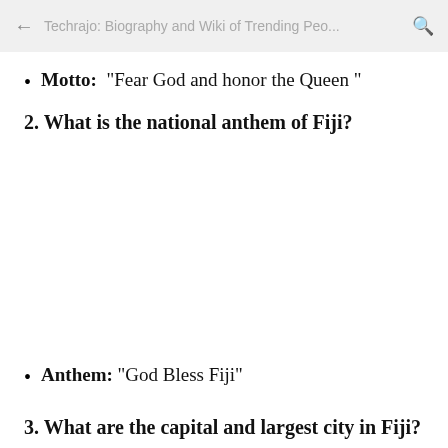Techrajo: Biography and Wiki of Trending Peo...
Motto:  "Fear God and honor the Queen "
2. What is the national anthem of Fiji?
Anthem: "God Bless Fiji"
3. What are the capital and largest city in Fiji?